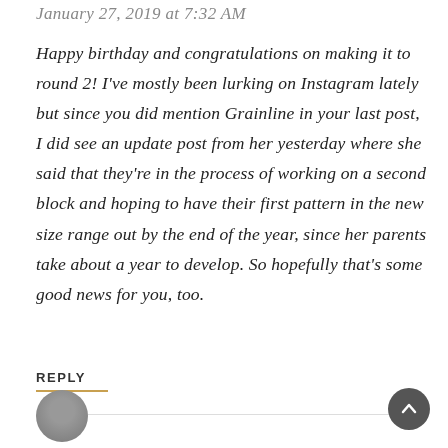January 27, 2019 at 7:32 AM
Happy birthday and congratulations on making it to round 2! I've mostly been lurking on Instagram lately but since you did mention Grainline in your last post, I did see an update post from her yesterday where she said that they're in the process of working on a second block and hoping to have their first pattern in the new size range out by the end of the year, since her parents take about a year to develop. So hopefully that's some good news for you, too.
REPLY
[Figure (other): Round avatar/profile image at the bottom left of the page]
[Figure (other): Scroll-to-top circular button with upward arrow, dark grey, bottom right]